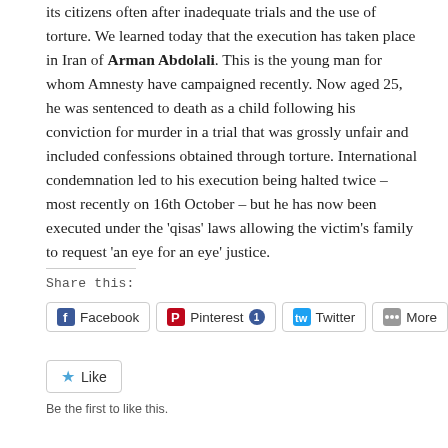its citizens often after inadequate trials and the use of torture. We learned today that the execution has taken place in Iran of Arman Abdolali. This is the young man for whom Amnesty have campaigned recently. Now aged 25, he was sentenced to death as a child following his conviction for murder in a trial that was grossly unfair and included confessions obtained through torture. International condemnation led to his execution being halted twice – most recently on 16th October – but he has now been executed under the 'qisas' laws allowing the victim's family to request 'an eye for an eye' justice.
Share this:
[Figure (other): Social sharing buttons: Facebook, Pinterest (with badge showing 1), Twitter, More, and a Like button with star icon]
Be the first to like this.